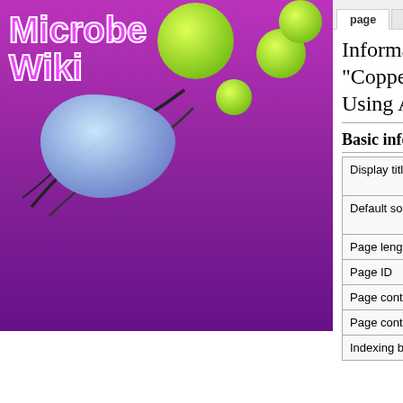[Figure (logo): MicrobeWiki logo with purple background, green circular microbe illustrations and blue microbe body image]
navigation
MicrobeWiki Home
Study Microbes
Microbial Biorealm
Viral Biorealm
Microbial Mythology
Recent changes
Random page
Contact MicrobeWiki
Help
tools
What links here
Related changes
Special pages
Page information
page  discussion  view source  history  log in
Information for "Copper Mining Using Acidothiobacillus"
Basic information
|  |  |
| --- | --- |
| Display title | Copper Mining Using Acidothiobacillus |
| Default sort key | Copper Mining Using Acidothiobacillus |
| Page length (in bytes) | 14,893 |
| Page ID | 5968 |
| Page content language | en - English |
| Page content model | wikitext |
| Indexing by robots | Allowed |